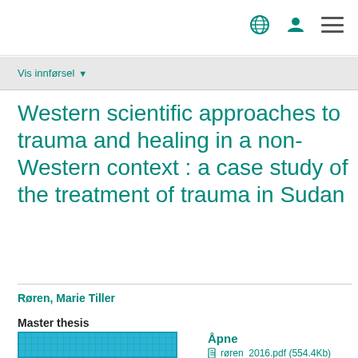Vis innførsel ▼
Western scientific approaches to trauma and healing in a non-Western context : a case study of the treatment of trauma in Sudan
Røren, Marie Tiller
Master thesis
[Figure (screenshot): Thumbnail preview of PDF document showing a blue grid/table]
Åpne
røren_2016.pdf (554.4Kb)